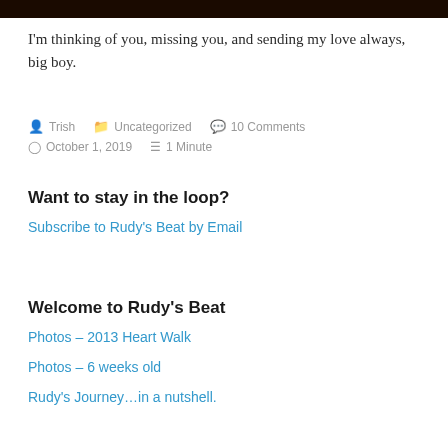[Figure (photo): Dark banner/header image strip at the top of the page]
I'm thinking of you, missing you, and sending my love always, big boy.
Trish  Uncategorized  10 Comments  October 1, 2019  1 Minute
Want to stay in the loop?
Subscribe to Rudy's Beat by Email
Welcome to Rudy's Beat
Photos – 2013 Heart Walk
Photos – 6 weeks old
Rudy's Journey…in a nutshell.